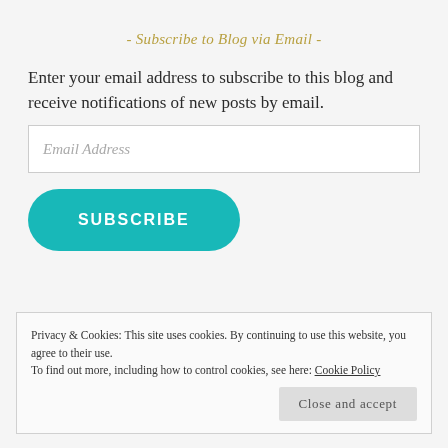- Subscribe to Blog via Email -
Enter your email address to subscribe to this blog and receive notifications of new posts by email.
Email Address
SUBSCRIBE
Privacy & Cookies: This site uses cookies. By continuing to use this website, you agree to their use.
To find out more, including how to control cookies, see here: Cookie Policy
Close and accept